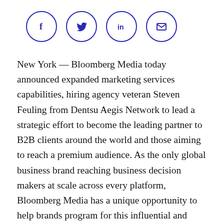[Figure (other): Social sharing icons: Facebook (f), Twitter (bird), LinkedIn (in), Email (envelope) — four circles with dark blue outlines and icons]
New York — Bloomberg Media today announced expanded marketing services capabilities, hiring agency veteran Steven Feuling from Dentsu Aegis Network to lead a strategic effort to become the leading partner to B2B clients around the world and those aiming to reach a premium audience. As the only global business brand reaching business decision makers at scale across every platform, Bloomberg Media has a unique opportunity to help brands program for this influential and elusive audience. Feuling, who was most recently CEO of the Dentsu Aegis agency Vizeum, starts on October 19th in New...